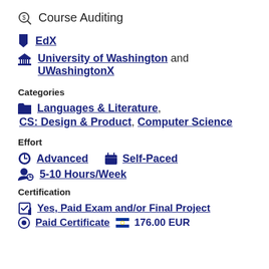Course Auditing
EdX
University of Washington and UWashingtonX
Categories
Languages & Literature, CS: Design & Product, Computer Science
Effort
Advanced   Self-Paced
5-10 Hours/Week
Certification
Yes, Paid Exam and/or Final Project
Paid Certificate   176.00 EUR